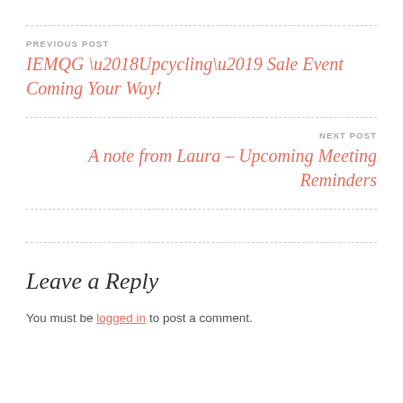PREVIOUS POST
IEMQG ‘Upcycling’ Sale Event Coming Your Way!
NEXT POST
A note from Laura – Upcoming Meeting Reminders
Leave a Reply
You must be logged in to post a comment.